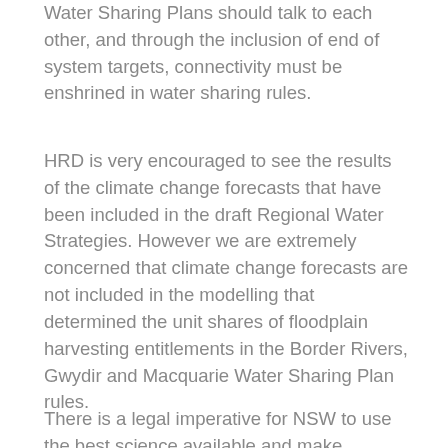Water Sharing Plans should talk to each other, and through the inclusion of end of system targets, connectivity must be enshrined in water sharing rules.
HRD is very encouraged to see the results of the climate change forecasts that have been included in the draft Regional Water Strategies. However we are extremely concerned that climate change forecasts are not included in the modelling that determined the unit shares of floodplain harvesting entitlements in the Border Rivers, Gwydir and Macquarie Water Sharing Plan rules.
There is a legal imperative for NSW to use the best science available and make decisions about water